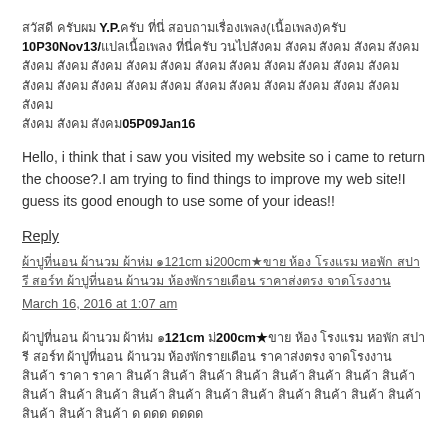สวัสดี ครับผม Y.P.ครับ ที่นี่ สอบถามเรื่องเพลง(เนื้อเพลง)ครับ 10P30Nov13/แปลเนื้อเพลง ที่นี่ครับ วนไปสังคม สังคม สังคม สังคม สังคม สังคม สังคม สังคม สังคม สังคม สังคม สังคม สังคม 05P09Jan16
Hello, i think that i saw you visited my website so i came to return the choose?.I am trying to find things to improve my web site!I guess its good enough to use some of your ideas!!
Reply
ผ้าปูที่นอน ผ้านวม ผ้าห่ม ๑121cm ม่200cm★ขาย ห้อง โรงแรม หอพัก สปา รี สอร์ท ป้าปูที่นอน ผ้านวม ห้องพักรายเดือน ราคาส่งตรง จาดโรงงาน March 16, 2016 at 1:07 am
ผ้าปูที่นอน ผ้านวม ผ้าห่ม ๑121cm ม่200cm★ขาย ห้อง โรงแรม หอพัก สปา รี สอร์ท ป้าปูที่นอน ผ้านวม ห้องพักรายเดือน ราคาส่งตรง จาดโรงงาน สินค้า ราคา ราคา สินค้า สินค้า สินค้า สินค้า สินค้า สินค้า สินค้า สินค้า สินค้า สินค้า สินค้า สินค้า สินค้า สินค้า